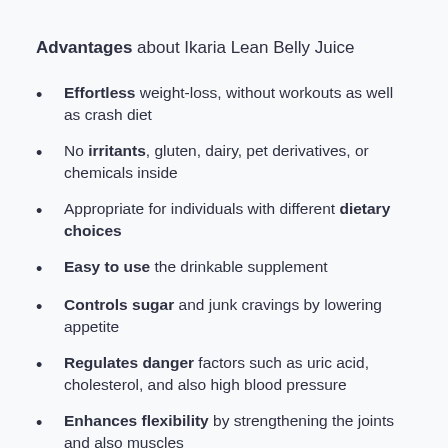Advantages about Ikaria Lean Belly Juice
Effortless weight-loss, without workouts as well as crash diet
No irritants, gluten, dairy, pet derivatives, or chemicals inside
Appropriate for individuals with different dietary choices
Easy to use the drinkable supplement
Controls sugar and junk cravings by lowering appetite
Regulates danger factors such as uric acid, cholesterol, and also high blood pressure
Enhances flexibility by strengthening the joints and also muscles